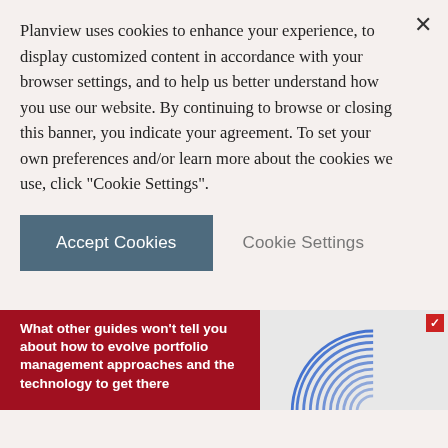Planview uses cookies to enhance your experience, to display customized content in accordance with your browser settings, and to help us better understand how you use our website. By continuing to browse or closing this banner, you indicate your agreement. To set your own preferences and/or learn more about the cookies we use, click "Cookie Settings".
Accept Cookies
Cookie Settings
[Figure (other): Planview promotional ad banner with dark red background on left showing text 'What other guides won’t tell you about how to evolve portfolio management approaches and the technology to get there' and a blue 'GET THE EBOOK' button. Right side shows concentric blue arcs graphic and Planview logo with arrow.]